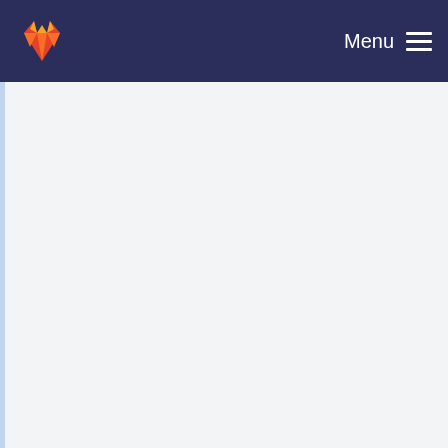Menu
Fix up doc/ handling by adding a proper Makefile.... Peter W. Draper committed 7 years ago